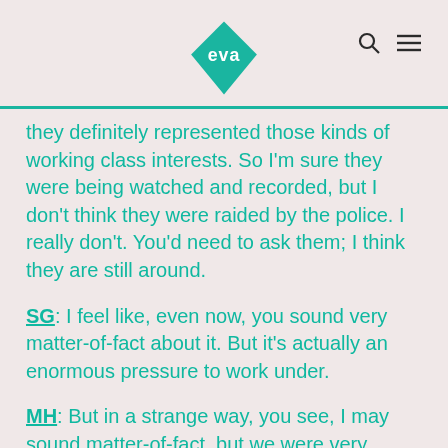eva
they definitely represented those kinds of working class interests. So I'm sure they were being watched and recorded, but I don't think they were raided by the police. I really don't. You'd need to ask them; I think they are still around.
SG: I feel like, even now, you sound very matter-of-fact about it. But it's actually an enormous pressure to work under.
MH: But in a strange way, you see, I may sound matter-of-fact, but we were very committed ideologically. I mean, we were